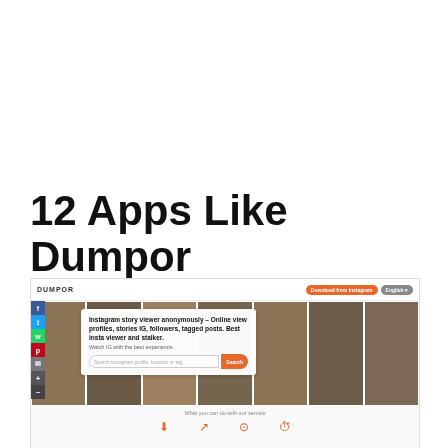12 Apps Like Dumpor
[Figure (screenshot): Screenshot of the Dumpor website showing its navbar with logo and orange buttons, a hero section with a photo collage background, an Instagram story viewer search card overlay, and the bottom 'What you can do with our service' section with icons.]